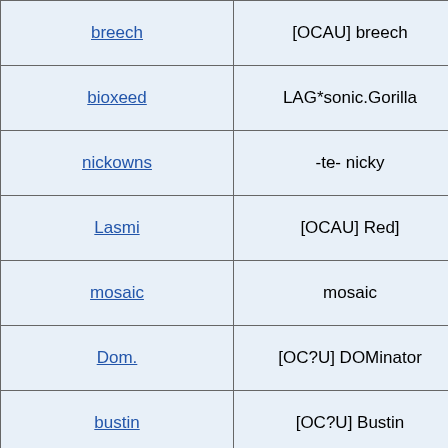| Username | In-game name | Classes |
| --- | --- | --- |
| breech | [OCAU] breech | Scout. |
| bioxeed | LAG*sonic.Gorilla | Medic, Soldier, Heav... |
| nickowns | -te- nicky | All |
| Lasmi | [OCAU] Red] | Engineer, Demo, M... Scout/Heavy |
| mosaic | mosaic | All expect Scout, M... |
| Dom. | [OC?U] DOMinator | Medic, Spy and se... |
| bustin | [OC?U] Bustin | Soldier,Medic,Engie,... |
| pheonix83 | [OC?U] Pheonix | Soldier,sniper... |
| uncle laz | laz | Soldier, Sniper, Scout... |
| Greenman | Greenman | Eng, Medic, Pyro, S... |